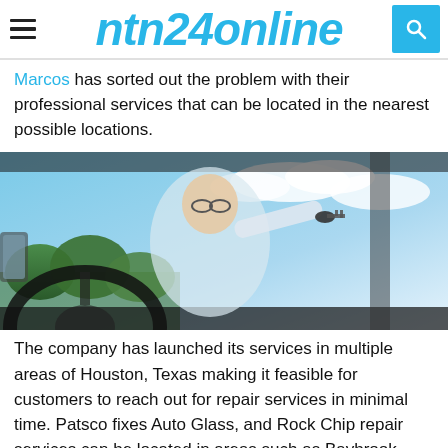ntn24online
Marcos has sorted out the problem with their professional services that can be located in the nearest possible locations.
[Figure (photo): Man inside a car viewed from a low angle, reaching forward with car keys in hand, wearing glasses and a white shirt, blue sky with clouds visible through windshield, trees in background]
The company has launched its services in multiple areas of Houston, Texas making it feasible for customers to reach out for repair services in minimal time. Patsco fixes Auto Glass, and Rock Chip repair services can be located in areas such as Baybrook Mall, Friendswood, Wallisville RD, Humblewood Shopping Center across Deerbrook Mall, Eldridge Town Center, and 2000 Willowbrook Mall Parking Lot, etc.